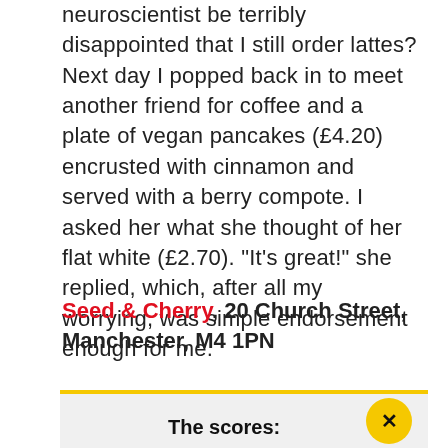neuroscientist be terribly disappointed that I still order lattes? Next day I popped back in to meet another friend for coffee and a plate of vegan pancakes (£4.20) encrusted with cinnamon and served with a berry compote. I asked her what she thought of her flat white (£2.70). "It's great!" she replied, which, after all my worrying, was simple endorsement enough for me.
Seed & Cherry, 20 Church Street, Manchester, M4 1PN
The scores:
All scored reviews are unannounced, impartial, paid for by Confidential and